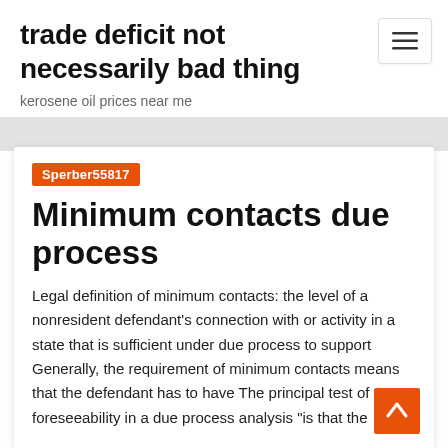trade deficit not necessarily bad thing
kerosene oil prices near me
[Figure (other): Hamburger menu button icon with three horizontal lines]
Sperber55817
Minimum contacts due process
Legal definition of minimum contacts: the level of a nonresident defendant's connection with or activity in a state that is sufficient under due process to support  Generally, the requirement of minimum contacts means that the defendant has to have The principal test of foreseeability in a due process analysis "is that the